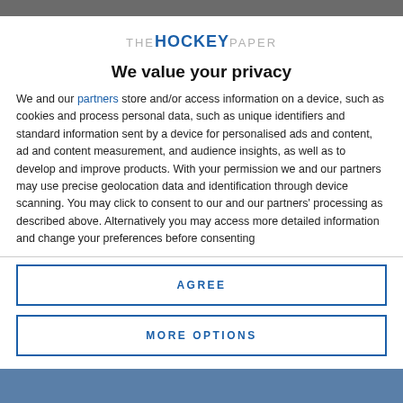[Figure (logo): The Hockey Paper logo — THE in grey, HOCKEY in blue bold, PAPER in grey]
We value your privacy
We and our partners store and/or access information on a device, such as cookies and process personal data, such as unique identifiers and standard information sent by a device for personalised ads and content, ad and content measurement, and audience insights, as well as to develop and improve products. With your permission we and our partners may use precise geolocation data and identification through device scanning. You may click to consent to our and our partners' processing as described above. Alternatively you may access more detailed information and change your preferences before consenting
AGREE
MORE OPTIONS